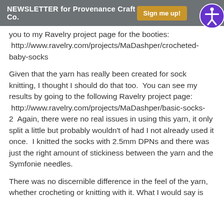NEWSLETTER for Provenance Craft Co.  Sign me up!
you to my Ravelry project page for the booties:  http://www.ravelry.com/projects/MaDashper/crocheted-baby-socks
Given that the yarn has really been created for sock knitting, I thought I should do that too.  You can see my results by going to the following Ravelry project page:  http://www.ravelry.com/projects/MaDashper/basic-socks-2   Again, there were no real issues in using this yarn, it only split a little but probably wouldn't of had I not already used it once.  I knitted the socks with 2.5mm DPNs and there was just the right amount of stickiness between the yarn and the Symfonie needles.
There was no discernible difference in the feel of the yarn, whether crocheting or knitting with it. What I would say is